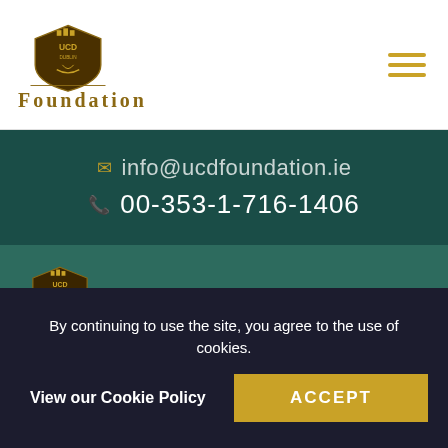[Figure (logo): UCD Foundation logo with shield crest and FOUNDATION text in gold]
[Figure (illustration): Hamburger menu icon with three gold horizontal lines]
info@ucdfoundation.ie
00-353-1-716-1406
[Figure (logo): UCD Foundation logo repeated in footer area with gold text on teal background]
Contact Us
University College Dublin Foundation (
By continuing to use the site, you agree to the use of cookies.
View our Cookie Policy
ACCEPT